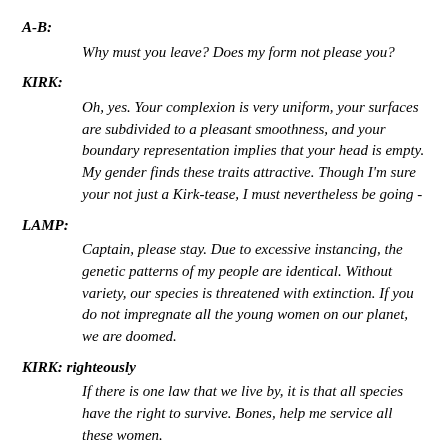A-B:
Why must you leave? Does my form not please you?
KIRK:
Oh, yes. Your complexion is very uniform, your surfaces are subdivided to a pleasant smoothness, and your boundary representation implies that your head is empty. My gender finds these traits attractive. Though I'm sure your not just a Kirk-tease, I must nevertheless be going -
LAMP:
Captain, please stay. Due to excessive instancing, the genetic patterns of my people are identical. Without variety, our species is threatened with extinction. If you do not impregnate all the young women on our planet, we are doomed.
KIRK: righteously
If there is one law that we live by, it is that all species have the right to survive. Bones, help me service all these women.